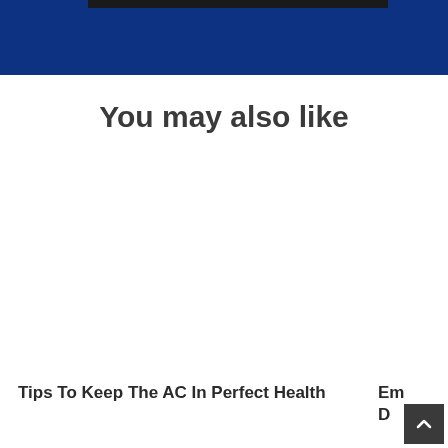[Figure (other): Blue banner header area with dark bar at top]
You may also like
Tips To Keep The AC In Perfect Health
Em D